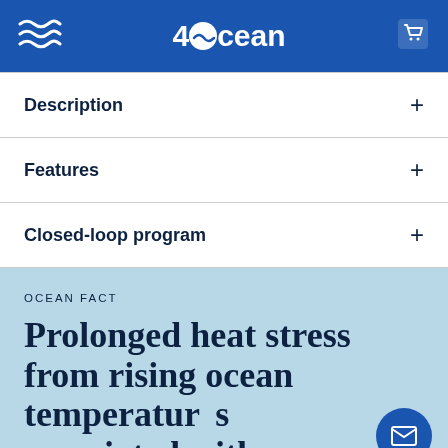4Ocean
Description
Features
Closed-loop program
OCEAN FACT
Prolonged heat stress from rising ocean temperatures associated with climate